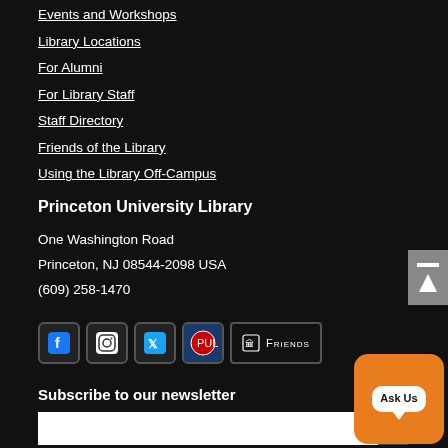Events and Workshops
Library Locations
For Alumni
For Library Staff
Staff Directory
Friends of the Library
Using the Library Off-Campus
Princeton University Library
One Washington Road
Princeton, NJ 08544-2098 USA
(609) 258-1470
[Figure (logo): Social media icons: Facebook, Instagram, Twitter, library logo, Friends badge]
Subscribe to our newsletter